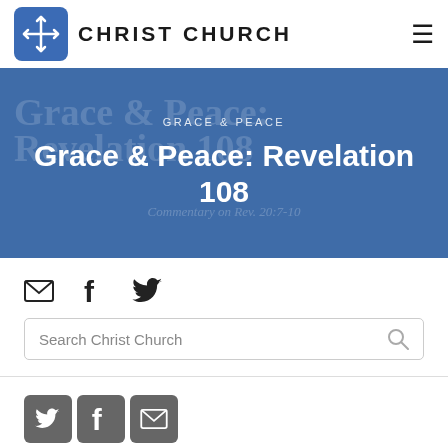[Figure (logo): Christ Church logo: blue square with white cross icon and text CHRIST CHURCH]
CHRIST CHURCH
[Figure (screenshot): Hero banner with blue background. Label: GRACE & PEACE. Title: Grace & Peace: Revelation 108. Background watermark text repeating the title and subtitle Commentary on Rev. 20:7-10]
GRACE & PEACE
Grace & Peace: Revelation 108
[Figure (infographic): Social sharing icons row: email envelope, Facebook f, Twitter bird]
Search Christ Church
[Figure (infographic): Bottom social icon buttons: Twitter, Facebook, Email in grey square buttons]